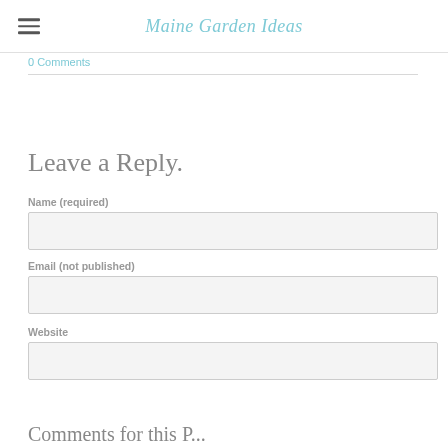Maine Garden Ideas
0 Comments
Leave a Reply.
Name (required)
Email (not published)
Website
Comments for this Post